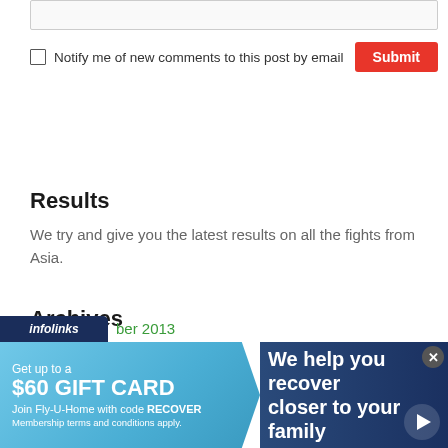[Figure (screenshot): Text input field at the top of the page]
Notify me of new comments to this post by email
Results
We try and give you the latest results on all the fights from Asia.
Archives
ber 2013
[Figure (screenshot): Infolinks advertisement banner: Get up to a $60 GIFT CARD Join Fly-U-Home with code RECOVER / We help you recover closer to your family]